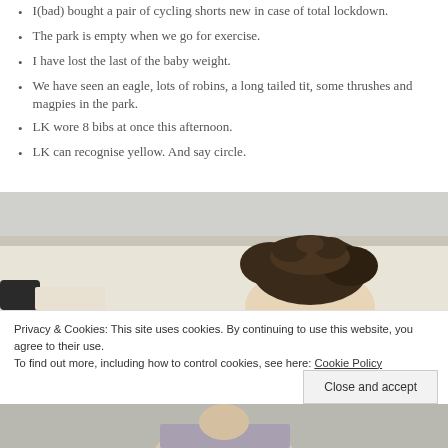I(bad) bought a pair of cycling shorts new in case of total lockdown.
The park is empty when we go for exercise.
I have lost the last of the baby weight.
We have seen an eagle, lots of robins, a long tailed tit, some thrushes and magpies in the park.
LK wore 8 bibs at once this afternoon.
LK can recognise yellow. And say circle.
[Figure (photo): Photo showing the top of a person's head with dark curly hair, lying down, against a light-colored wall background.]
Privacy & Cookies: This site uses cookies. By continuing to use this website, you agree to their use.
To find out more, including how to control cookies, see here: Cookie Policy
Close and accept